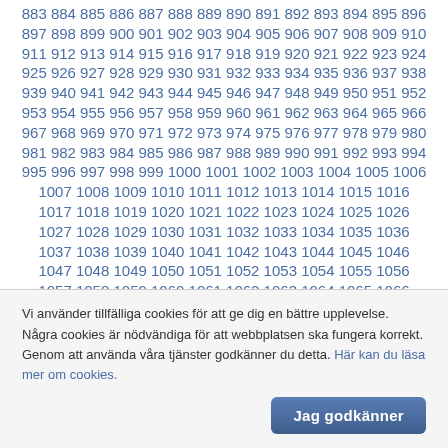883 884 885 886 887 888 889 890 891 892 893 894 895 896 897 898 899 900 901 902 903 904 905 906 907 908 909 910 911 912 913 914 915 916 917 918 919 920 921 922 923 924 925 926 927 928 929 930 931 932 933 934 935 936 937 938 939 940 941 942 943 944 945 946 947 948 949 950 951 952 953 954 955 956 957 958 959 960 961 962 963 964 965 966 967 968 969 970 971 972 973 974 975 976 977 978 979 980 981 982 983 984 985 986 987 988 989 990 991 992 993 994 995 996 997 998 999 1000 1001 1002 1003 1004 1005 1006 1007 1008 1009 1010 1011 1012 1013 1014 1015 1016 1017 1018 1019 1020 1021 1022 1023 1024 1025 1026 1027 1028 1029 1030 1031 1032 1033 1034 1035 1036 1037 1038 1039 1040 1041 1042 1043 1044 1045 1046 1047 1048 1049 1050 1051 1052 1053 1054 1055 1056 1057 1058 1059 1060 1061 1062 1063 1064 1065 1066 1067 1068 1069 1070 1071 1072 1073 1074 1075 1076
Vi använder tillfälliga cookies för att ge dig en bättre upplevelse. Några cookies är nödvändiga för att webbplatsen ska fungera korrekt. Genom att använda våra tjänster godkänner du detta. Här kan du läsa mer om cookies.
Jag godkänner